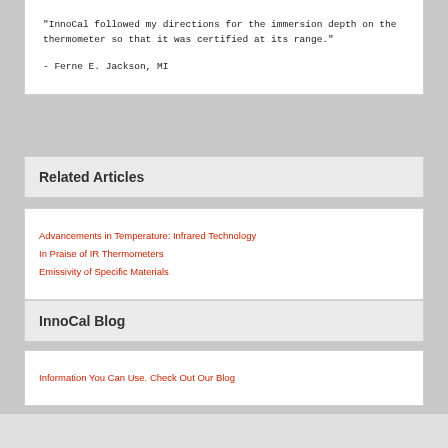"InnoCal followed my directions for the immersion depth on the thermometer so that it was certified at its range."
- Ferne E. Jackson, MI
Related Articles
Advancements in Temperature: Infrared Technology
In Praise of IR Thermometers
Emissivity of Specific Materials
InnoCal Blog
Information You Can Use. Check Out Our Blog